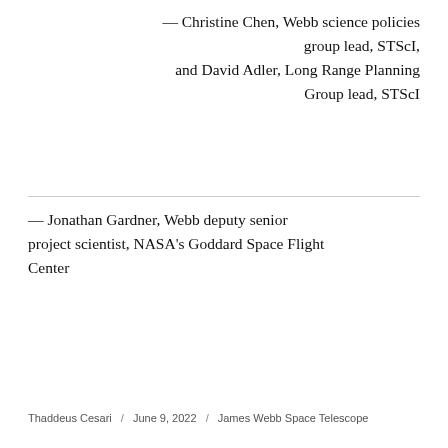— Christine Chen, Webb science policies group lead, STScI, and David Adler, Long Range Planning Group lead, STScI
— Jonathan Gardner, Webb deputy senior project scientist, NASA's Goddard Space Flight Center
Thaddeus Cesari / June 9, 2022 / James Webb Space Telescope